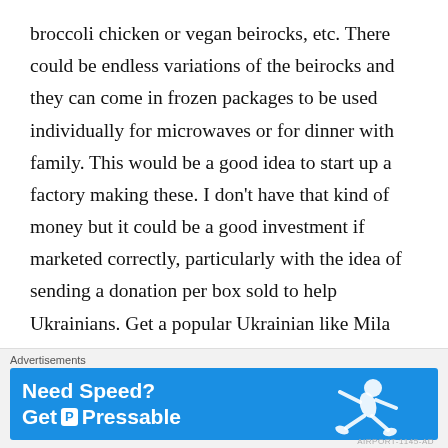broccoli chicken or vegan beirocks, etc. There could be endless variations of the beirocks and they can come in frozen packages to be used individually for microwaves or for dinner with family. This would be a good idea to start up a factory making these. I don't have that kind of money but it could be a good investment if marketed correctly, particularly with the idea of sending a donation per box sold to help Ukrainians. Get a popular Ukrainian like Mila Kunis to do a TV ad or something like that for it. I don't got the money to mass produce any of these ideas. Maybe you do. Well, if you make like a gazillion dollars please kindly send me back a small
Advertisements
[Figure (screenshot): Advertisement banner for Pressable hosting service with blue background, text 'Need Speed? Get Pressable' with a logo icon, and a person running/flying on the right side.]